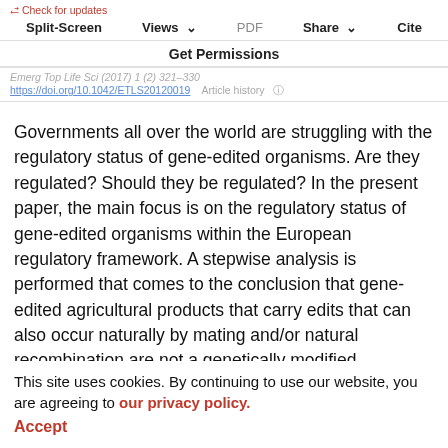Check for updates | Split-Screen | Views | PDF | Share | Cite | Get Permissions
Emerg Top Life Sci (2017) 1 (2) 321–330
https://doi.org/10.1042/ETLS20120019    Article history
Governments all over the world are struggling with the regulatory status of gene-edited organisms. Are they regulated? Should they be regulated? In the present paper, the main focus is on the regulatory status of gene-edited organisms within the European regulatory framework. A stepwise analysis is performed that comes to the conclusion that gene-edited agricultural products that carry edits that can also occur naturally by mating and/or natural recombination are not a genetically modified
organism. On the question whether they should be regulated, it is argued that it is difficult to require regulatory oversight that would go beyond what we now require for conventional products that can carry the same types of
This site uses cookies. By continuing to use our website, you are agreeing to our privacy policy.
Accept